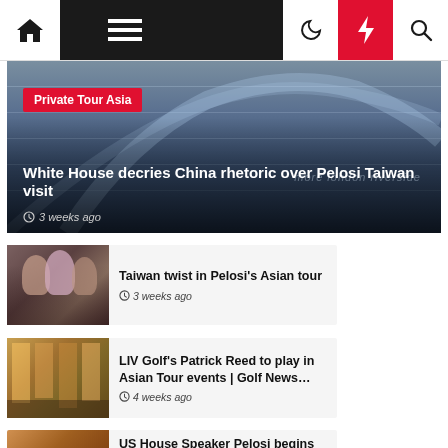Navigation bar with home, menu, moon, bolt, search icons
[Figure (photo): Hero image of modern building with glass facade. Overlay shows 'Private Tour Asia' tag, headline 'White House decries China rhetoric over Pelosi Taiwan visit', timestamp '3 weeks ago']
White House decries China rhetoric over Pelosi Taiwan visit
3 weeks ago
[Figure (photo): Thumbnail photo of people in masks, Pelosi in pink suit]
Taiwan twist in Pelosi's Asian tour
3 weeks ago
[Figure (photo): Thumbnail of busy Asian street market]
LIV Golf's Patrick Reed to play in Asian Tour events | Golf News…
4 weeks ago
[Figure (photo): Thumbnail of desert/rocky landscape]
US House Speaker Pelosi begins